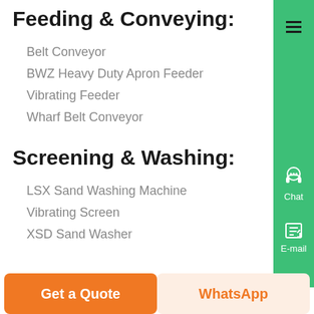Feeding & Conveying:
Belt Conveyor
BWZ Heavy Duty Apron Feeder
Vibrating Feeder
Wharf Belt Conveyor
Screening & Washing:
LSX Sand Washing Machine
Vibrating Screen
XSD Sand Washer
[Figure (other): Green sidebar with hamburger menu icon, Chat button with headset icon, E-mail button with document icon, Top button with up arrow, and close (X) button]
[Figure (other): Bottom action bar with 'Get a Quote' orange button and 'WhatsApp' button on peach background]